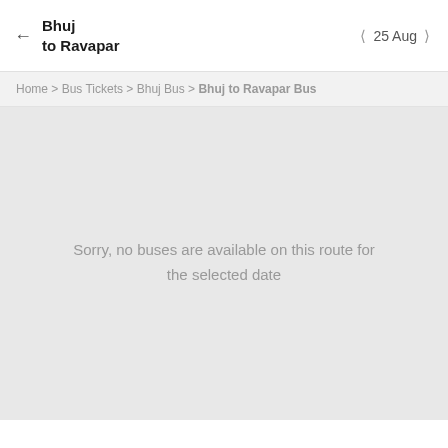Bhuj to Ravapar | 25 Aug
Home > Bus Tickets > Bhuj Bus > Bhuj to Ravapar Bus
Sorry, no buses are available on this route for the selected date